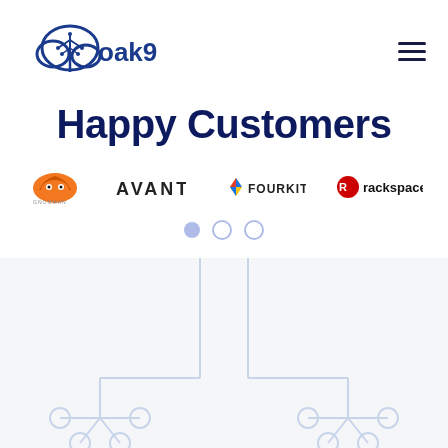[Figure (logo): oak9 logo: cloud with circuit-tree icon in blue, with text 'oak9' in dark blue]
Happy Customers
[Figure (logo): Row of customer logos: Gnomman (orange gaming icon), AVANT (black text logo), FourKites (diamond icon with text), Rackspace (red circular icon with text)]
[Figure (illustration): Light blue circuit board / network diagram decorative illustration on light gray background]